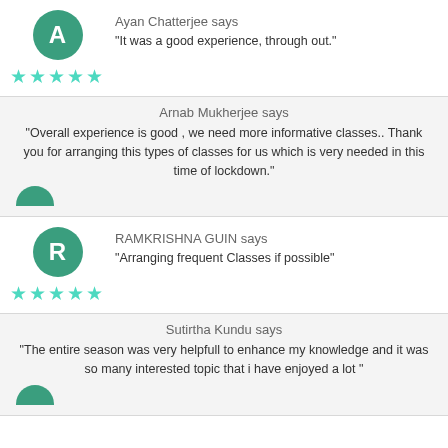Ayan Chatterjee says
"It was a good experience, through out."
[Figure (infographic): Green circle avatar with letter A and 5 teal stars rating]
Arnab Mukherjee says
"Overall experience is good , we need more informative classes.. Thank you for arranging this types of classes for us which is very needed in this time of lockdown."
RAMKRISHNA GUIN says
"Arranging frequent Classes if possible"
[Figure (infographic): Green circle avatar with letter R and 5 teal stars rating]
Sutirtha Kundu says
"The entire season was very helpfull to enhance my knowledge and it was so many interested topic that i have enjoyed a lot "